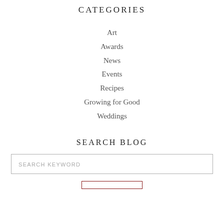CATEGORIES
Art
Awards
News
Events
Recipes
Growing for Good
Weddings
SEARCH BLOG
SEARCH KEYWORD